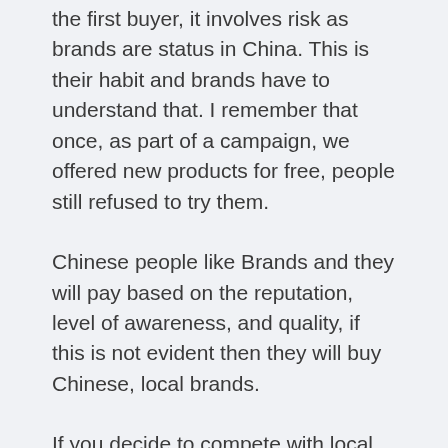the first buyer, it involves risk as brands are status in China. This is their habit and brands have to understand that. I remember that once, as part of a campaign, we offered new products for free, people still refused to try them.
Chinese people like Brands and they will pay based on the reputation, level of awareness, and quality, if this is not evident then they will buy Chinese, local brands.
If you decide to compete with local brands, good luck. They are very cheap and super aggressive. It is almost impossible for an International brand to beat a Chinese competitor on price on their home turf.
Chinese consumers buy foreign Brands because they